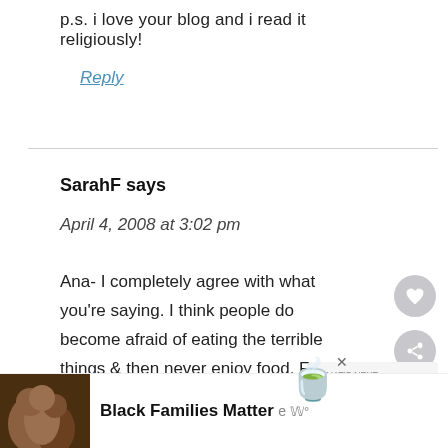p.s. i love your blog and i read it religiously!
Reply
SarahF says
April 4, 2008 at 3:02 pm
Ana- I completely agree with what you're saying. I think people do become afraid of eating the terrible things & then never enjoy food. For me personally, as you might notice in my first post, I said I didn't
Black Families Matter